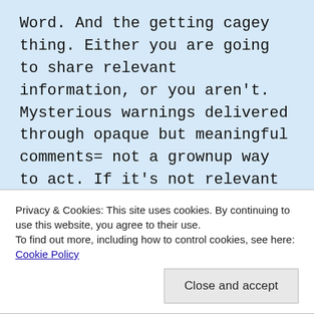Word. And the getting cagey thing. Either you are going to share relevant information, or you aren't. Mysterious warnings delivered through opaque but meaningful comments= not a grownup way to act. If it's not relevant or your business, keep your mouth shut. If you do speak up, speak all the way up.
Jeez. It's like Warning Friend was communicating through Galadriel's mirror pool.
Privacy & Cookies: This site uses cookies. By continuing to use this website, you agree to their use. To find out more, including how to control cookies, see here: Cookie Policy
Close and accept
COUNCIL is coming through... if you want to